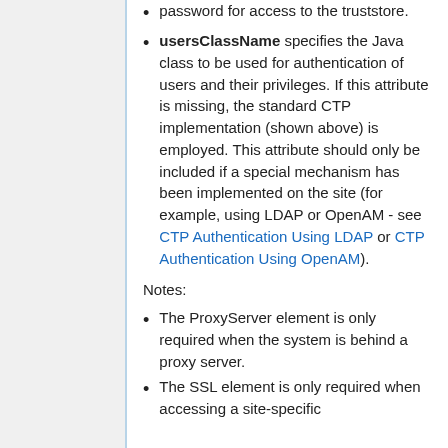password for access to the truststore.
usersClassName specifies the Java class to be used for authentication of users and their privileges. If this attribute is missing, the standard CTP implementation (shown above) is employed. This attribute should only be included if a special mechanism has been implemented on the site (for example, using LDAP or OpenAM - see CTP Authentication Using LDAP or CTP Authentication Using OpenAM).
Notes:
The ProxyServer element is only required when the system is behind a proxy server.
The SSL element is only required when accessing a site-specific